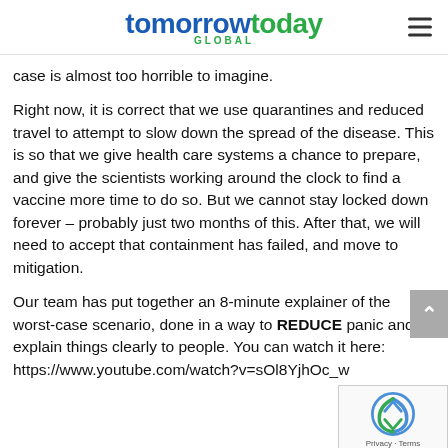tomorrowtoday GLOBAL
case is almost too horrible to imagine.
Right now, it is correct that we use quarantines and reduced travel to attempt to slow down the spread of the disease. This is so that we give health care systems a chance to prepare, and give the scientists working around the clock to find a vaccine more time to do so. But we cannot stay locked down forever – probably just two months of this. After that, we will need to accept that containment has failed, and move to mitigation.
Our team has put together an 8-minute explainer of the worst-case scenario, done in a way to REDUCE panic and explain things clearly to people. You can watch it here: https://www.youtube.com/watch?v=sOl8YjhOc_w